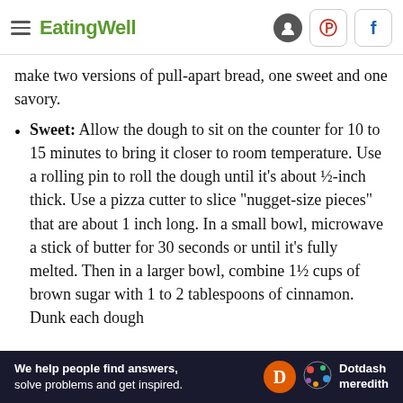EatingWell
make two versions of pull-apart bread, one sweet and one savory.
Sweet: Allow the dough to sit on the counter for 10 to 15 minutes to bring it closer to room temperature. Use a rolling pin to roll the dough until it's about ½-inch thick. Use a pizza cutter to slice "nugget-size pieces" that are about 1 inch long. In a small bowl, microwave a stick of butter for 30 seconds or until it's fully melted. Then in a larger bowl, combine 1½ cups of brown sugar with 1 to 2 tablespoons of cinnamon. Dunk each dough
[Figure (other): Dotdash Meredith advertisement banner: 'We help people find answers, solve problems and get inspired.']